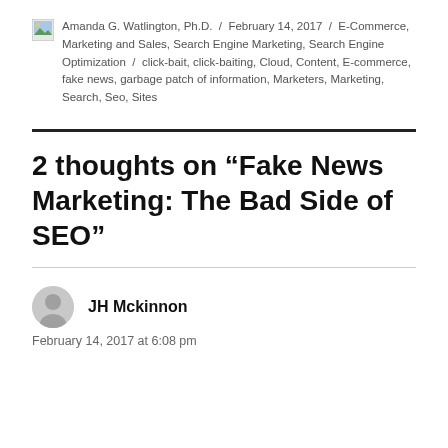Amanda G. Watlington, Ph.D. / February 14, 2017 / E-Commerce, Marketing and Sales, Search Engine Marketing, Search Engine Optimization / click-bait, click-baiting, Cloud, Content, E-commerce, fake news, garbage patch of information, Marketers, Marketing, Search, Seo, Sites
2 thoughts on “Fake News Marketing: The Bad Side of SEO”
JH Mckinnon
February 14, 2017 at 6:08 pm